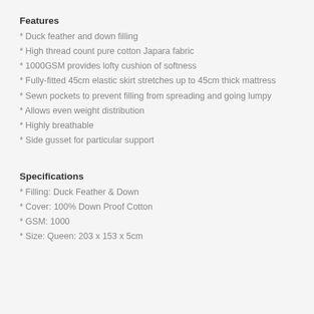Features
* Duck feather and down filling
* High thread count pure cotton Japara fabric
* 1000GSM provides lofty cushion of softness
* Fully-fitted 45cm elastic skirt stretches up to 45cm thick mattress
* Sewn pockets to prevent filling from spreading and going lumpy
* Allows even weight distribution
* Highly breathable
* Side gusset for particular support
Specifications
* Filling: Duck Feather & Down
* Cover: 100% Down Proof Cotton
* GSM: 1000
* Size: Queen: 203 x 153 x 5cm